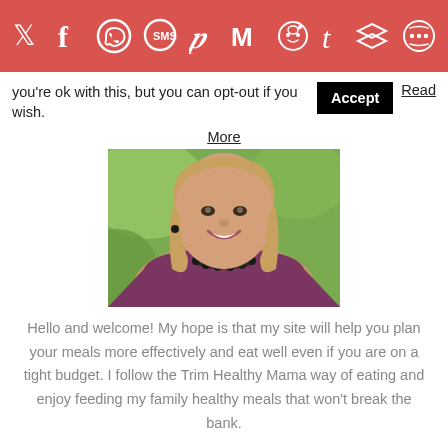[Figure (other): Social media sharing icons bar with red background: Twitter, Facebook, WhatsApp, SMS, Pinterest, Gmail, Reddit, Tumblr, Buffer, Share icons in white on red]
you're ok with this, but you can opt-out if you wish.
Accept
Read More
[Figure (photo): Portrait photo of a smiling woman with blonde hair wearing a purple sleeveless top and dark beaded necklace, with green foliage in background]
Hello and welcome! My hope is that my site will help you plan your meals more effectively and eat well even if you are on a tight budget. I follow the Trim Healthy Mama way of eating and enjoy feeding my family healthy meals that won't break the bank.